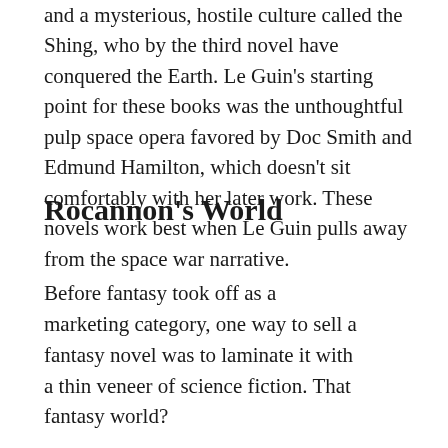and a mysterious, hostile culture called the Shing, who by the third novel have conquered the Earth. Le Guin's starting point for these books was the unthoughtful pulp space opera favored by Doc Smith and Edmund Hamilton, which doesn't sit comfortably with her later work. These novels work best when Le Guin pulls away from the space war narrative.
Rocannon's World
Before fantasy took off as a marketing category, one way to sell a fantasy novel was to laminate it with a thin veneer of science fiction. That fantasy world?